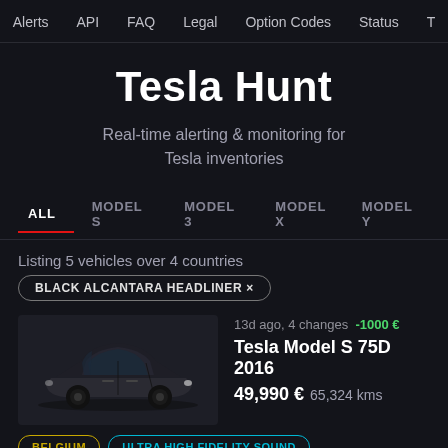Alerts  API  FAQ  Legal  Option Codes  Status  T
Tesla Hunt
Real-time alerting & monitoring for Tesla inventories
ALL  MODEL S  MODEL 3  MODEL X  MODEL Y
Listing 5 vehicles over 4 countries
BLACK ALCANTARA HEADLINER ×
[Figure (photo): Black Tesla Model S 75D sedan]
13d ago, 4 changes  -1000 €
Tesla Model S 75D 2016
49,990 €  65,324 kms
BELGIUM  ULTRA HIGH FIDELITY SOUND
AUTOPILOT  FULL SELF DRIVING HARDWARE